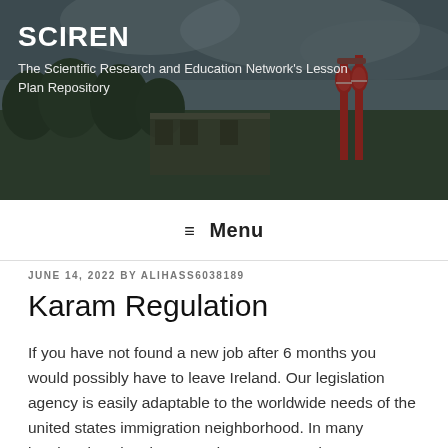[Figure (photo): Website header banner with a dark outdoor scene showing trees and red equipment structures, partially obscured by dark overlay]
SCIREN
The Scientific Research and Education Network's Lesson Plan Repository
≡ Menu
JUNE 14, 2022 BY ALIHASS6038189
Karam Regulation
If you have not found a new job after 6 months you would possibly have to leave Ireland. Our legislation agency is easily adaptable to the worldwide needs of the united states immigration neighborhood. In many immigration situations you do not want to danger representing your self or making law firm turkey use of with out the advice of an skilled immigration professional. Foreigners whose